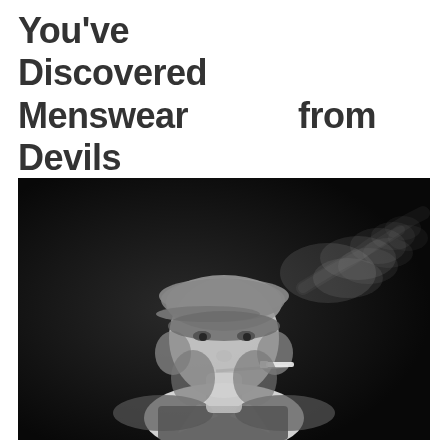You've Discovered Menswear from Devils Foe Fashion Is Wrong And What You Should Know
[Figure (photo): Black and white photograph of a young man wearing a flat cap and a dark vest over a white shirt, with a cigarette in his mouth and smoke blowing to the right, against a dark background.]